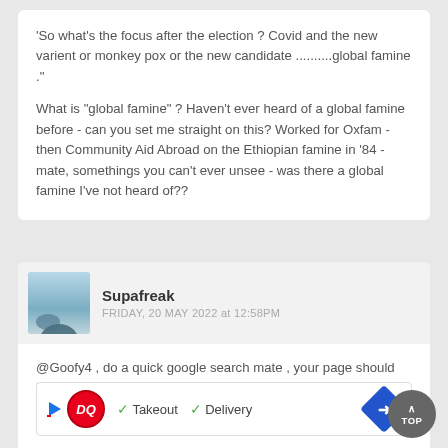'So what's the focus after the election ? Covid and the new varient or monkey pox or the new candidate ..........global famine ."
What is "global famine" ? Haven't ever heard of a global famine before - can you set me straight on this? Worked for Oxfam - then Community Aid Abroad on the Ethiopian famine in '84 - mate, somethings you can't ever unsee - was there a global famine I've not heard of??
Supafreak
FRIDAY, 20 MAY 2022 at 12:58PM
@Goofy4 , do a quick google search mate , your page should light up for 2022 , blaming partly all the grain unable to be exported from Ukraine , plenty of articles on wor
[Figure (screenshot): Advertisement banner for Dairy Queen showing DQ logo, checkmarks for Takeout and Delivery, and a blue arrow navigation button]